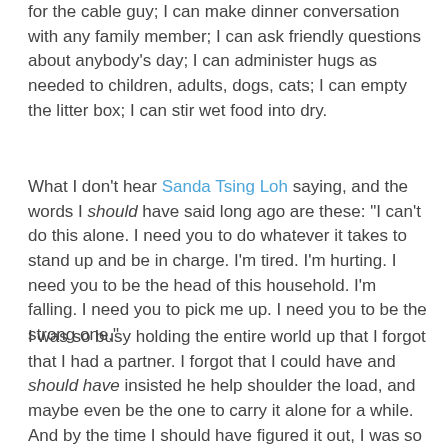for the cable guy; I can make dinner conversation with any family member; I can ask friendly questions about anybody's day; I can administer hugs as needed to children, adults, dogs, cats; I can empty the litter box; I can stir wet food into dry.
What I don't hear Sanda Tsing Loh saying, and the words I should have said long ago are these: "I can't do this alone. I need you to do whatever it takes to stand up and be in charge. I'm tired. I'm hurting. I need you to be the head of this household. I'm falling. I need you to pick me up. I need you to be the strong one."
I was so busy holding the entire world up that I forgot that I had a partner. I forgot that I could have and should have insisted he help shoulder the load, and maybe even be the one to carry it alone for a while. And by the time I should have figured it out, I was so physically, mentally and emotionally spent, that all i could do was save myself, because the partnership wasn't a partnership any more.